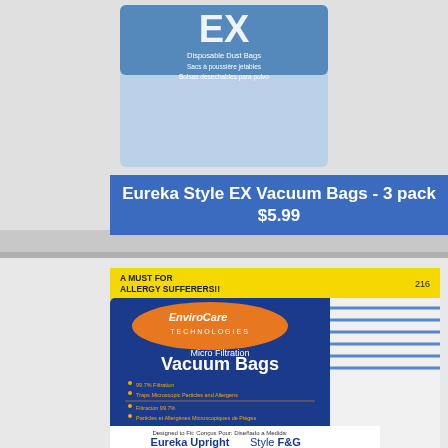[Figure (photo): Eureka Style EX Disposable Dust Bags 3 pack product packaging photo]
Eureka Style EX Vacuum Bags - 3 pack
$5.99
[Figure (photo): EnviroCare Technologies Micro Filtration Vacuum Bags for Eureka Upright Style F&G, yellow allergy banner at top reading A MUST FOR ALLERGY SUFFERERS!! with number 216]